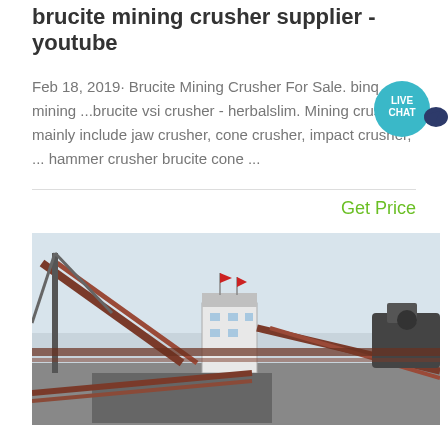brucite mining crusher supplier - youtube
Feb 18, 2019· Brucite Mining Crusher For Sale. binq mining ...brucite vsi crusher - herbalslim. Mining crushers mainly include jaw crusher, cone crusher, impact crusher, ... hammer crusher brucite cone ...
Get Price
[Figure (photo): Photograph of a mining facility showing industrial conveyors, a control tower with flags, and heavy machinery structures against a cloudy sky.]